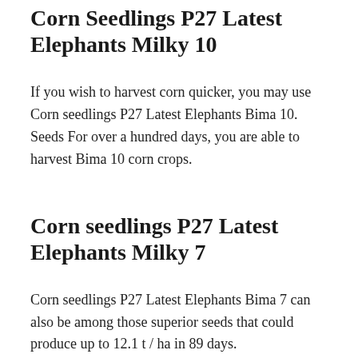Corn Seedlings P27 Latest Elephants Milky 10
If you wish to harvest corn quicker, you may use Corn seedlings P27 Latest Elephants Bima 10. Seeds For over a hundred days, you are able to harvest Bima 10 corn crops.
Corn seedlings P27 Latest Elephants Milky 7
Corn seedlings P27 Latest Elephants Bima 7 can also be among those superior seeds that could produce up to 12.1 t / ha in 89 days.
Corn seedlings P27 Latest